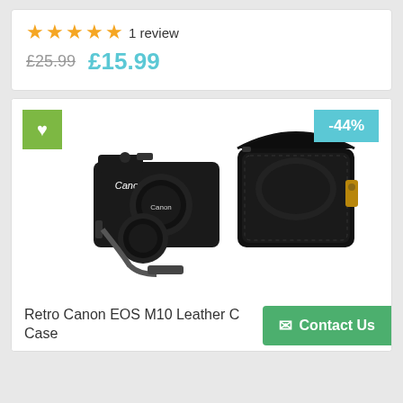★★★★★ 1 review
£25.99  £15.99
[Figure (photo): Product photo showing a Canon EOS M10 camera with lens cap and a black leather retro-style camera case/bag next to it, along with a camera strap]
Retro Canon EOS M10 Leather C… Case
Contact Us